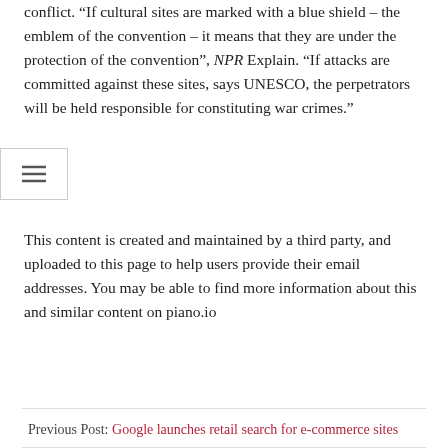conflict. “If cultural sites are marked with a blue shield – the emblem of the convention – it means that they are under the protection of the convention”, NPR Explain. “If attacks are committed against these sites, says UNESCO, the perpetrators will be held responsible for constituting war crimes.”
This content is created and maintained by a third party, and uploaded to this page to help users provide their email addresses. You may be able to find more information about this and similar content on piano.io
Previous Post: Google launches retail search for e-commerce sites
Next Post: ACF WordPress plugin vulnerability affects up to +2 million sites